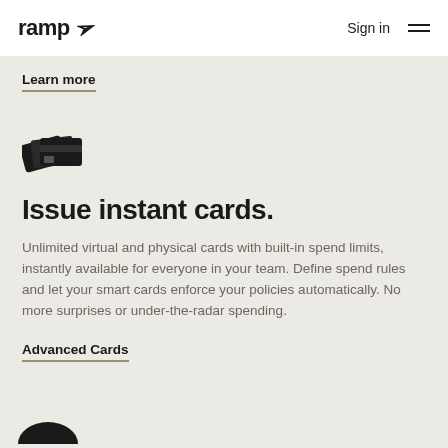ramp  Sign in
Learn more
[Figure (illustration): Stacked credit card icon illustration in black]
Issue instant cards.
Unlimited virtual and physical cards with built-in spend limits, instantly available for everyone in your team. Define spend rules and let your smart cards enforce your policies automatically. No more surprises or under-the-radar spending.
Advanced Cards
[Figure (illustration): Partial illustration of another icon at the bottom of the page]